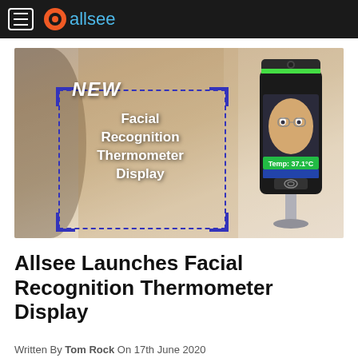allsee
[Figure (photo): Product banner image showing a facial recognition thermometer display device mounted on a stand, with 'NEW Facial Recognition Thermometer Display' text overlay and a blue dashed rectangle border with corner brackets. Background shows a blurred office/cafe scene with a woman in a yellow top.]
Allsee Launches Facial Recognition Thermometer Display
Written By Tom Rock On 17th June 2020